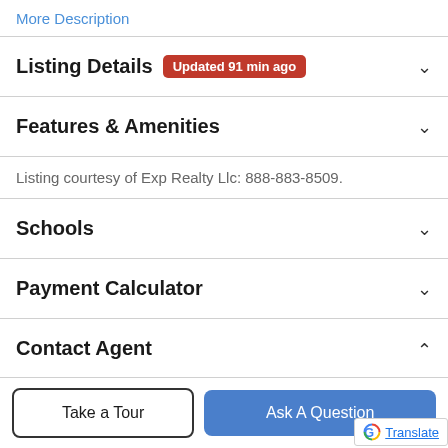More Description
Listing Details  Updated 91 min ago
Features & Amenities
Listing courtesy of Exp Realty Llc: 888-883-8509.
Schools
Payment Calculator
Contact Agent
Take a Tour
Ask A Question
Translate